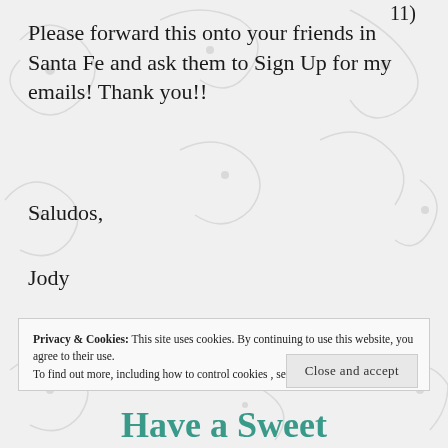Please forward this onto your friends in Santa Fe and ask them to Sign Up for my emails! Thank you!!
Saludos,
Jody
Privacy & Cookies: This site uses cookies. By continuing to use this website, you agree to their use.
To find out more, including how to control cookies, see here: Cookie Policy
Close and accept
Have a Sweet